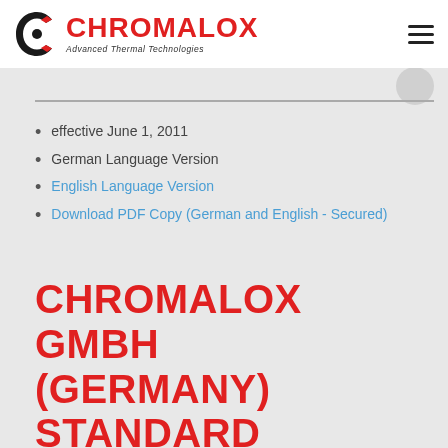[Figure (logo): Chromalox logo with circular icon and red wordmark 'CHROMALOX' and tagline 'Advanced Thermal Technologies']
effective June 1, 2011
German Language Version
English Language Version
Download PDF Copy (German and English - Secured)
CHROMALOX GMBH (GERMANY) STANDARD TERMS AND